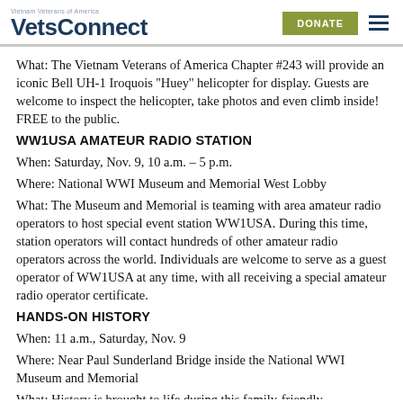VetsConnect | Vietnam Veterans of America | DONATE
What: The Vietnam Veterans of America Chapter #243 will provide an iconic Bell UH-1 Iroquois ''Huey'' helicopter for display. Guests are welcome to inspect the helicopter, take photos and even climb inside! FREE to the public.
WW1USA AMATEUR RADIO STATION
When: Saturday, Nov. 9, 10 a.m. – 5 p.m.
Where: National WWI Museum and Memorial West Lobby
What: The Museum and Memorial is teaming with area amateur radio operators to host special event station WW1USA. During this time, station operators will contact hundreds of other amateur radio operators across the world. Individuals are welcome to serve as a guest operator of WW1USA at any time, with all receiving a special amateur radio operator certificate.
HANDS-ON HISTORY
When: 11 a.m., Saturday, Nov. 9
Where: Near Paul Sunderland Bridge inside the National WWI Museum and Memorial
What: History is brought to life during this family-friendly